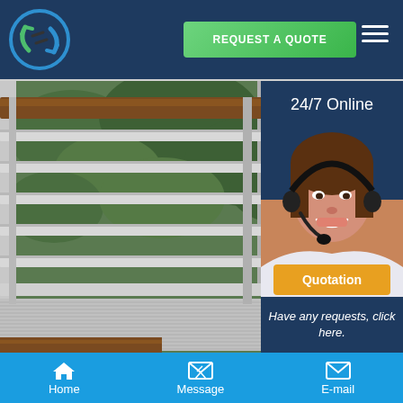[Figure (logo): Circular logo with blue and green swoosh arrows on dark navy header background]
REQUEST A QUOTE
[Figure (photo): Outdoor metal louvered railing/balcony grate with green foliage background and wooden deck floor]
24/7 Online
[Figure (photo): Smiling female customer service agent wearing a headset microphone]
Have any requests, click here.
Quotation
Home
Message
E-mail